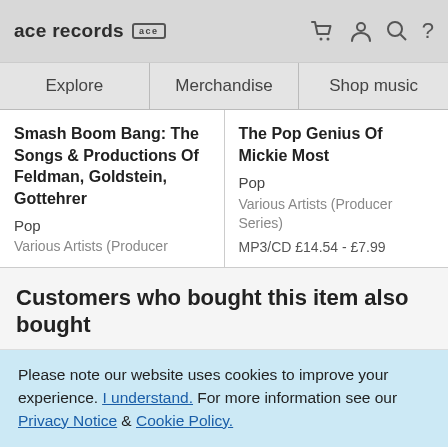ace records [logo] | [cart] [user] [search] [?]
| Explore | Merchandise | Shop music |
| --- | --- | --- |
Smash Boom Bang: The Songs & Productions Of Feldman, Goldstein, Gottehrer
Pop
Various Artists (Producer
The Pop Genius Of Mickie Most
Pop
Various Artists (Producer Series)
MP3/CD £14.54 - £7.99
Customers who bought this item also bought
Please note our website uses cookies to improve your experience. I understand. For more information see our Privacy Notice & Cookie Policy.